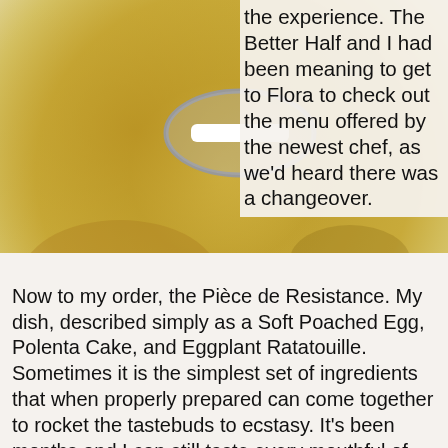[Figure (photo): Food photo background showing Poached Egg, Ratatouille and Polenta dish, blurred/bokeh background with golden yellow tones]
[Figure (illustration): Gray oval with white minus/dash bar icon (no/remove symbol) overlaid on food photo]
Poached Egg, Ratatouille and Polenta
the experience. The Better Half and I had been meaning to get to Flora to check out the menu offered by the newest chef, as we'd heard there was a changeover. After we ordered our drinks we made our decisions and committed to a meal. BH ordered a fried chicken dish accompanied by an amazing chile sauce and a delectable corn relish. It was both hearty and gratifying. My bite of his lunch was a perfectly balanced combo of tang, spice and crunch.
Now to my order, the Pièce de Resistance. My dish, described simply as a Soft Poached Egg, Polenta Cake, and Eggplant Ratatouille. Sometimes it is the simplest set of ingredients that when properly prepared can come together to rocket the tastebuds to ecstasy. It's been months and I can still taste every mouthful of this dish. I am a sucker for